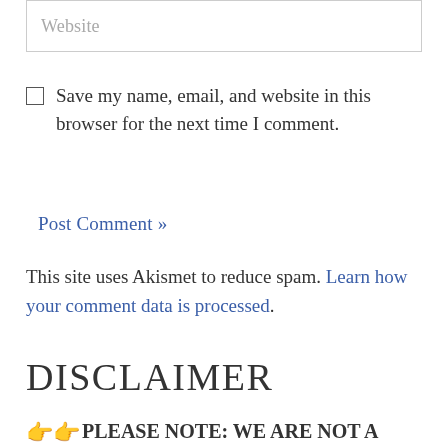[Figure (other): Website input text field]
Save my name, email, and website in this browser for the next time I comment.
Post Comment »
This site uses Akismet to reduce spam. Learn how your comment data is processed.
DISCLAIMER
👉👉PLEASE NOTE: WE ARE NOT A RESCUE ORGANIZATION, ADOPTION